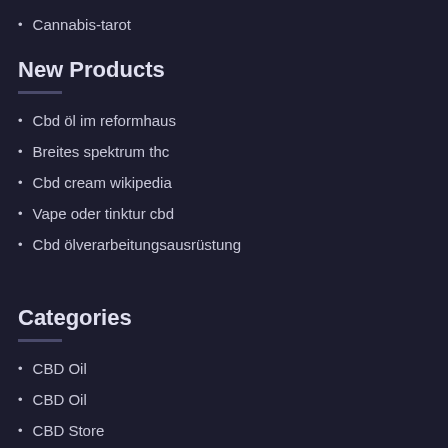Cannabis-tarot
New Products
Cbd öl im reformhaus
Breites spektrum thc
Cbd cream wikipedia
Vape oder tinktur cbd
Cbd ölverarbeitungsausrüstung
Categories
CBD Oil
CBD Oil
CBD Store